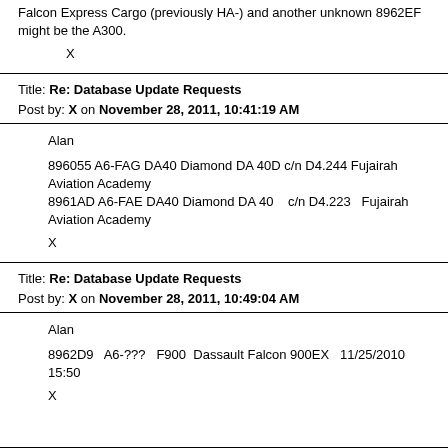Falcon Express Cargo (previously HA-) and another unknown 8962EF might be the A300.
X
Title: Re: Database Update Requests
Post by: X on November 28, 2011, 10:41:19 AM
Alan
896055 A6-FAG DA40 Diamond DA 40D c/n D4.244 Fujairah Aviation Academy
8961AD A6-FAE DA40 Diamond DA 40    c/n D4.223   Fujairah Aviation Academy
X
Title: Re: Database Update Requests
Post by: X on November 28, 2011, 10:49:04 AM
Alan
8962D9   A6-???   F900   Dassault Falcon 900EX   11/25/2010 15:50
X